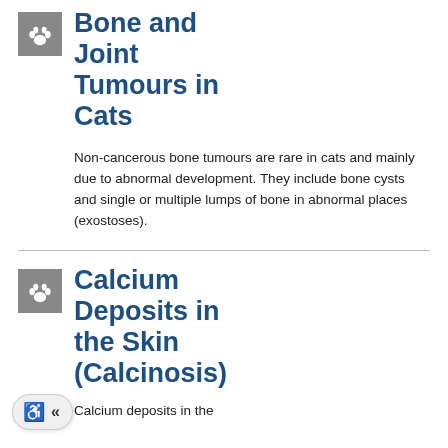Bone and Joint Tumours in Cats
Non-cancerous bone tumours are rare in cats and mainly due to abnormal development. They include bone cysts and single or multiple lumps of bone in abnormal places (exostoses).
Calcium Deposits in the Skin (Calcinosis)
Calcium deposits in the